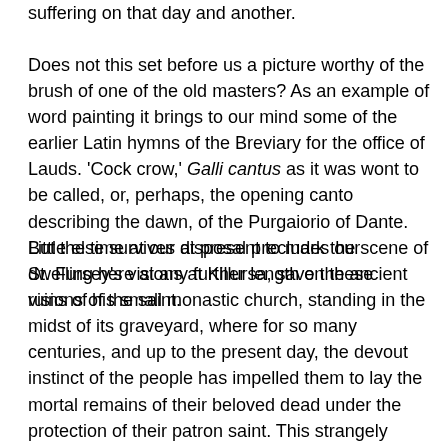suffering on that day and another.
Does not this set before us a picture worthy of the brush of one of the old masters? As an example of word painting it brings to our mind some of the earlier Latin hymns of the Breviary for the office of Lauds. 'Cock crow,' Galli cantus as it was wont to be called, or, perhaps, the opening canto describing the dawn, of the Purgaiorio of Dante. But the time at our disposal precludes our dwelling here at any further length on these visions of the saint.
Little else survives at present to mark the scene of St. Fursey's visions at Killursa, save the ancient ruins of his small monastic church, standing in the midst of its graveyard, where for so many centuries, and up to the present day, the devout instinct of the people has impelled them to lay the mortal remains of their beloved dead under the protection of their patron saint. This strangely persistent instinct of the people for burying their dead near the ruins of the old churches of the early Irish saints is a cause of that unseemly, and to some minds irreverent, over-crowding of all the old